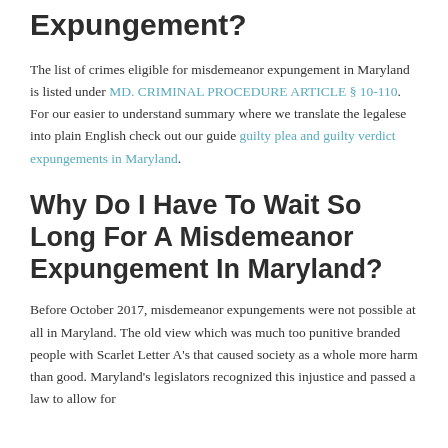Expungement?
The list of crimes eligible for misdemeanor expungement in Maryland is listed under MD. CRIMINAL PROCEDURE ARTICLE § 10-110. For our easier to understand summary where we translate the legalese into plain English check out our guide guilty plea and guilty verdict expungements in Maryland.
Why Do I Have To Wait So Long For A Misdemeanor Expungement In Maryland?
Before October 2017, misdemeanor expungements were not possible at all in Maryland. The old view which was much too punitive branded people with Scarlet Letter A's that caused society as a whole more harm than good. Maryland's legislators recognized this injustice and passed a law to allow for